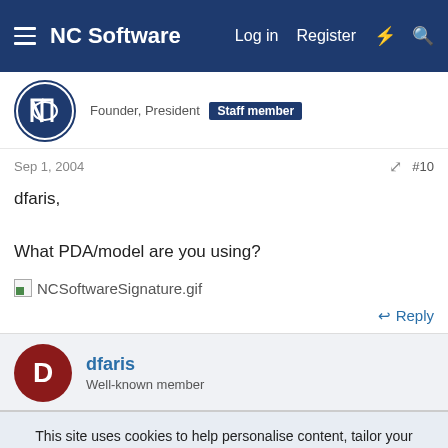NC Software — Log in  Register
Founder, President  Staff member
Sep 1, 2004  #10
dfaris,

What PDA/model are you using?
[Figure (other): Broken image placeholder for NCSoftwareSignature.gif]
Reply
dfaris
Well-known member
This site uses cookies to help personalise content, tailor your experience and to keep you logged in if you register.
By continuing to use this site, you are consenting to our use of cookies.
Accept  Learn more...